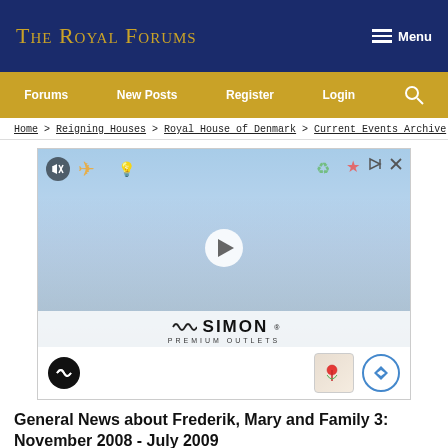The Royal Forums
[Figure (screenshot): Navigation bar with links: Forums, New Posts, Register, Login, Search icon]
Home > Reigning Houses > Royal House of Denmark > Current Events Archive
[Figure (photo): Advertisement for Simon Premium Outlets featuring children with colorful decorations and a play button overlay]
General News about Frederik, Mary and Family 3: November 2008 - July 2009